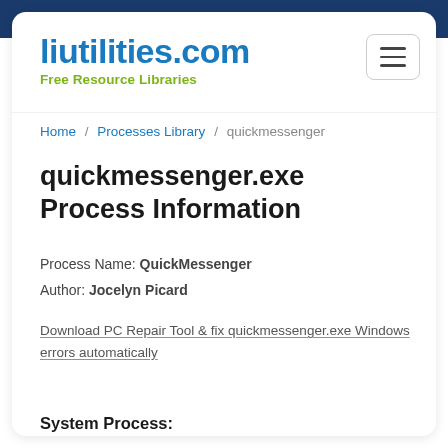liutilities.com
Free Resource Libraries
Home / Processes Library / quickmessenger
quickmessenger.exe Process Information
Process Name: QuickMessenger
Author: Jocelyn Picard
Download PC Repair Tool & fix quickmessenger.exe Windows errors automatically
System Process: